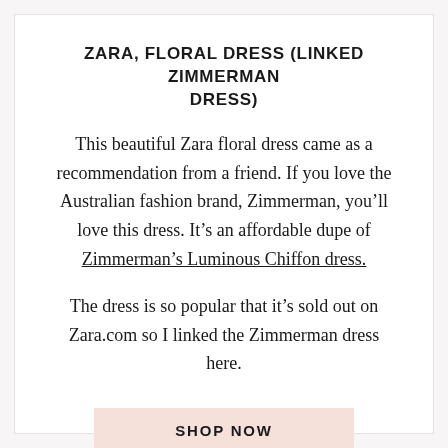ZARA, FLORAL DRESS (LINKED ZIMMERMAN DRESS)
This beautiful Zara floral dress came as a recommendation from a friend. If you love the Australian fashion brand, Zimmerman, you’ll love this dress. It’s an affordable dupe of Zimmerman’s Luminous Chiffon dress.
The dress is so popular that it’s sold out on Zara.com so I linked the Zimmerman dress here.
SHOP NOW